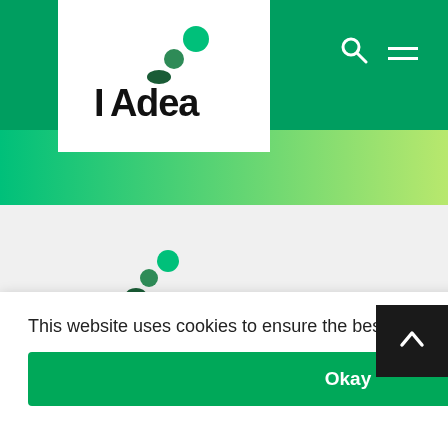[Figure (logo): IAdea logo with green dots in white header box on green navigation bar]
[Figure (logo): IAdea logo with green dots on gray background]
This website uses cookies to ensure the best browsing experience.
Okay